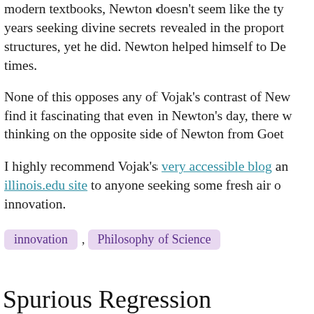modern textbooks, Newton doesn't seem like the type to spend years seeking divine secrets revealed in the proportions of temple structures, yet he did. Newton helped himself to De Morgan's times.
None of this opposes any of Vojak's contrast of Newton… I find it fascinating that even in Newton's day, there was thinking on the opposite side of Newton from Goethe…
I highly recommend Vojak's very accessible blog and illinois.edu site to anyone seeking some fresh air on innovation.
innovation
Philosophy of Science
Spurious Regression